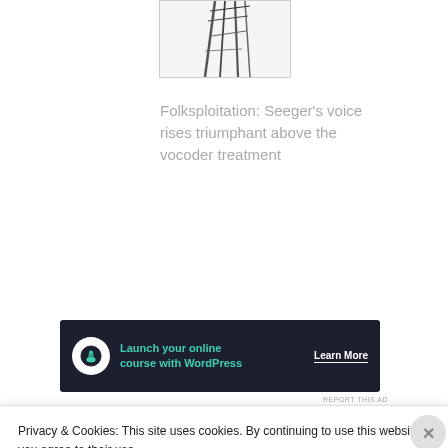[Figure (photo): Black and white photo of a person, partially cropped at top of page]
Folksploitation: Seeger's voice rises triumphant above the vocoder treatment
[Figure (screenshot): Advertisement banner: Launch your online course with WordPress. Learn More.]
REPORT THIS AD
The Pete Seeger Documentary...
Privacy & Cookies: This site uses cookies. By continuing to use this website, you agree to their use.
To find out more, including how to control cookies, see here: Cookie Policy